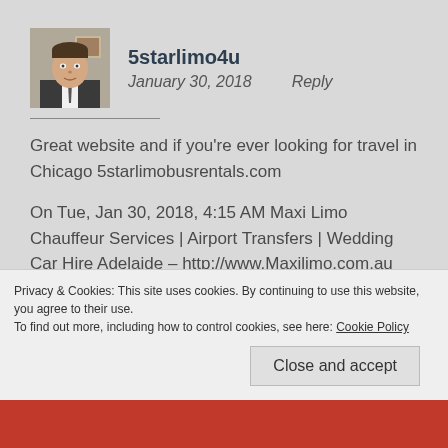[Figure (photo): Profile photo of a man in a suit and tie]
5starlimo4u
January 30, 2018    Reply
Great website and if you're ever looking for travel in Chicago 5starlimobusrentals.com
On Tue, Jan 30, 2018, 4:15 AM Maxi Limo Chauffeur Services | Airport Transfers | Wedding Car Hire Adelaide – http://www.Maxilimo.com.au wrote:
Privacy & Cookies: This site uses cookies. By continuing to use this website, you agree to their use.
To find out more, including how to control cookies, see here: Cookie Policy
Close and accept